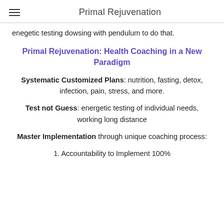Primal Rejuvenation
enegetic testing dowsing with pendulum to do that.
Primal Rejuvenation:  Health Coaching in a New Paradigm
Systematic Customized Plans:  nutrition, fasting, detox, infection, pain, stress, and more.
Test not Guess: energetic testing of individual needs, working long distance
Master Implementation through unique coaching process:
1. Accountability to Implement 100%